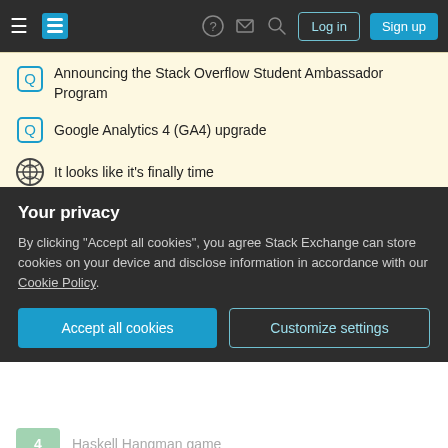Stack Overflow navigation bar with hamburger menu, logo, help, inbox, search, Log in, Sign up buttons
Announcing the Stack Overflow Student Ambassador Program
Google Analytics 4 (GA4) upgrade
It looks like it's finally time
Related
7 — Small Haskell Hangman game
11 — Very simple Hangman game
12 — Simple game of Hangman
Your privacy
By clicking "Accept all cookies", you agree Stack Exchange can store cookies on your device and disclose information in accordance with our Cookie Policy.
Accept all cookies | Customize settings